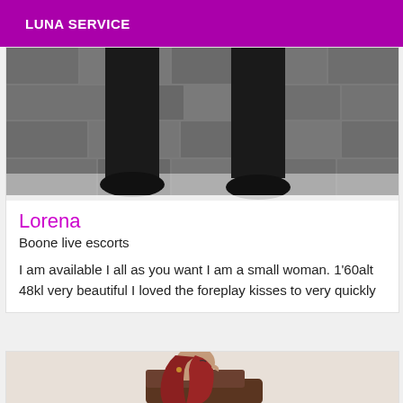LUNA SERVICE
[Figure (photo): Photo of a person in black pants and shoes standing against a stone wall background, image cropped at torso/legs level]
Lorena
Boone live escorts
I am available I all as you want I am a small woman. 1'60alt 48kl very beautiful I loved the foreplay kisses to very quickly
[Figure (photo): Photo of a person with long red/auburn hair viewed from the side, cropped at shoulder level, light beige background]